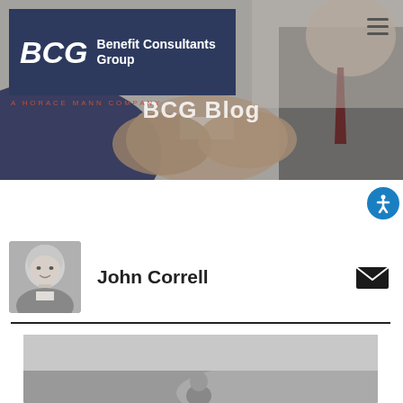[Figure (logo): BCG Benefit Consultants Group logo with dark navy background, white bold BCG letters and company name, with 'A HORACE MANN COMPANY' tagline in orange below]
[Figure (photo): Hero banner image showing two businesspeople shaking hands, with BCG Blog text overlay in white]
BCG Blog
[Figure (photo): Black and white headshot photo of John Correll, a bald middle-aged man]
John Correll
[Figure (photo): Black and white landscape or portrait photo used as article thumbnail, partially visible at the bottom of the page]